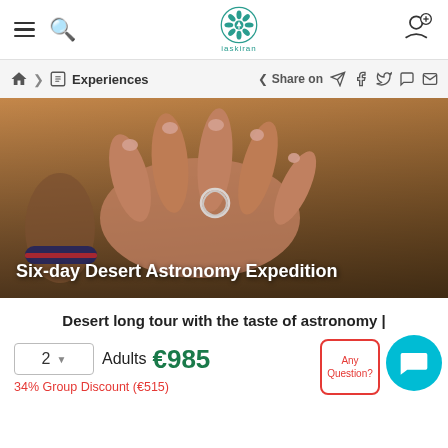IaskIran — navigation bar with hamburger, search, logo, and profile icons
Home > Experiences | Share on Telegram Facebook Twitter WhatsApp Email
[Figure (photo): A hand resting on desert sand with a bracelet and a ring shaped like the outline of a country, overlaid with the text 'Six-day Desert Astronomy Expedition']
Six-day Desert Astronomy Expedition
Desert long tour with the taste of astronomy |
2  Adults  €985
34% Group Discount (€515)